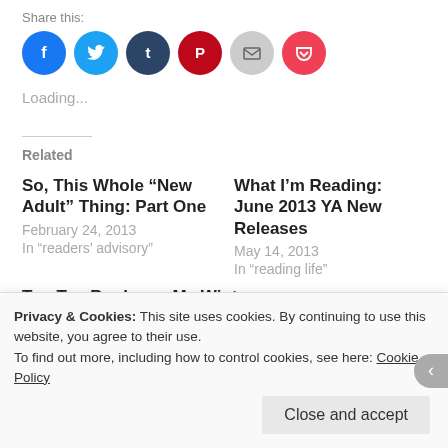Share this:
[Figure (infographic): Six social sharing icon circles: Facebook (blue), Twitter (light blue), Tumblr (dark navy), Pinterest (dark red), Email (grey), Pocket (pink/red)]
Loading...
Related
So, This Whole “New Adult” Thing: Part One
February 24, 2013
In “readers’ advisory”
What I’m Reading: June 2013 YA New Releases
May 14, 2013
In “reading life”
Top Ten Books on My Winter
Privacy & Cookies: This site uses cookies. By continuing to use this website, you agree to their use.
To find out more, including how to control cookies, see here: Cookie Policy
Close and accept